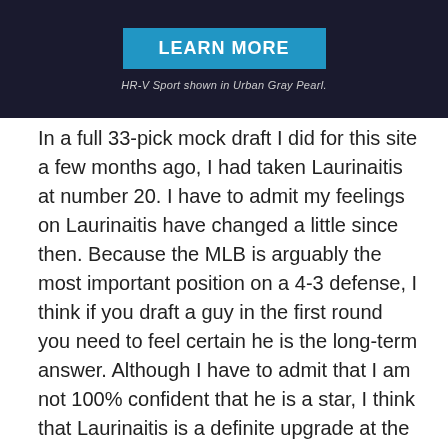[Figure (photo): Dark advertisement banner with a blue 'LEARN MORE' button and caption 'HR-V Sport shown in Urban Gray Pearl.']
HR-V Sport shown in Urban Gray Pearl.
In a full 33-pick mock draft I did for this site a few months ago, I had taken Laurinaitis at number 20. I have to admit my feelings on Laurinaitis have changed a little since then. Because the MLB is arguably the most important position on a 4-3 defense, I think if you draft a guy in the first round you need to feel certain he is the long-term answer. Although I have to admit that I am not 100% confident that he is a star, I think that Laurinaitis is a definite upgrade at the position. If I knew I could get him at pick 25 or so and pick up another draft pick in a trade, this becomes a very easy decision. But even here at 20, I think there is value in the pick and an instant upgrade at the position. He has the size and speed of the prototypical middle